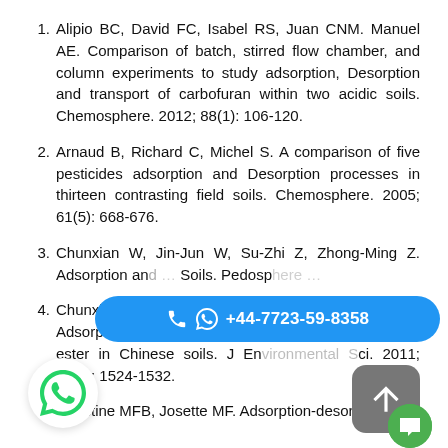Alipio BC, David FC, Isabel RS, Juan CNM. Manuel AE. Comparison of batch, stirred flow chamber, and column experiments to study adsorption, Desorption and transport of carbofuran within two acidic soils. Chemosphere. 2012; 88(1): 106-120.
Arnaud B, Richard C, Michel S. A comparison of five pesticides adsorption and Desorption processes in thirteen contrasting field soils. Chemosphere. 2005; 61(5): 668-676.
Chunxian W, Jin-Jun W, Su-Zhi Z, Zhong-Ming Z. Adsorption and [obscured] Soils. Pedosp[here obscured]
Chunxian W, Suzhi Z, Guo N, Zhongming Z, Jinjun W. Adsorption and Desorption of herbicide monosulfuron-ester in Chinese soils. J En[vironmental ]Sci. 2011; 23(9): 1524-1532.
Christine MFB, Josette MF. Adsorption-desorption